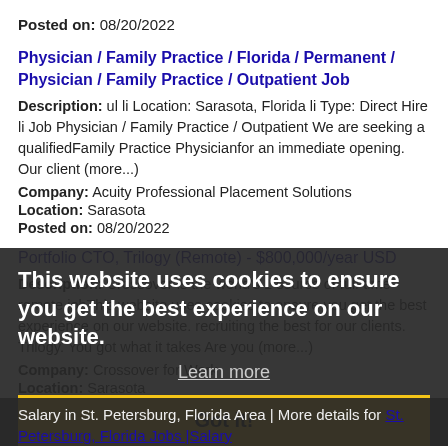Posted on: 08/20/2022
Physician / Family Practice / Florida / Permanent / Physician / Family Practice / Outpatient Job
Description: ul li Location: Sarasota, Florida li Type: Direct Hire li Job Physician / Family Practice / Outpatient We are seeking a qualifiedFamily Practice Physicianfor an immediate opening. Our client (more...)
Company: Acuity Professional Placement Solutions
Location: Sarasota
Posted on: 08/20/2022
Portfolio CTO, Trilogy (Remote) - $800,000/year USD
Description: Crossover is the world's 1 source of full-time remote jobThis website uses cookies to ensure you get the best experience on our website. recruiting the best for our clients. Trilogy. You got what it takes Are you (more...)
Company: Crossover for Work
Location: Sarasota
Posted on: 08/20/2022
Learn more
Got it!
Salary in St. Petersburg, Florida Area | More details for St. Petersburg, Florida Jobs |Salary